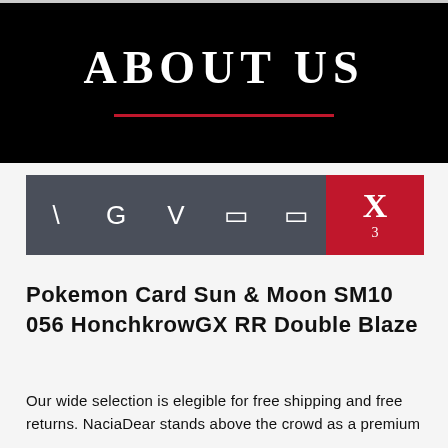ABOUT US
[Figure (other): Navigation bar with icons: backslash, G, V, two rectangle icons, and X with subscript 3 on red background]
Pokemon Card Sun & Moon SM10 056 HonchkrowGX RR Double Blaze
Our wide selection is elegible for free shipping and free returns. NaciaDear stands above the crowd as a premium